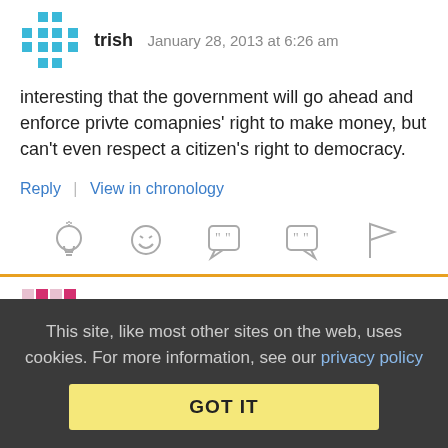[Figure (illustration): Blue pixel/mosaic avatar icon for user trish]
trish   January 28, 2013 at 6:26 am
interesting that the government will go ahead and enforce privte comapnies' right to make money, but can't even respect a citizen's right to democracy.
Reply | View in chronology
[Figure (illustration): Row of 5 reaction icons: lightbulb, laughing face, quote bubble left, quote bubble right, flag]
[Figure (illustration): Pink/magenta pixel/mosaic avatar icon for user Anonymous Coward]
Anonymous Coward   January 28, 2013 at 6:33 am
This site, like most other sites on the web, uses cookies. For more information, see our privacy policy GOT IT